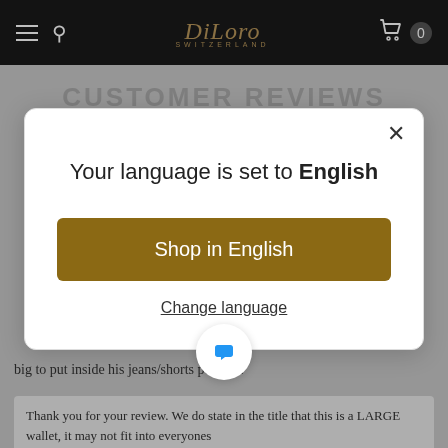DiLoro SWITZERLAND
CUSTOMER REVIEWS
big to put inside his jeans/shorts pockets.
Your language is set to English
Shop in English
Change language
Thank you for your review. We do state in the title that this is a LARGE wallet, it may not fit into everyones